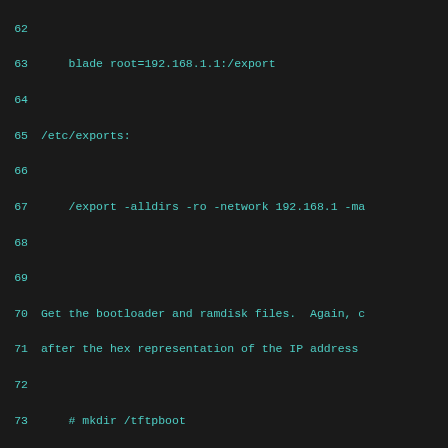Code listing lines 62-85 showing OpenBSD network boot configuration including /etc/exports, tftpboot setup, and ifconfig commands